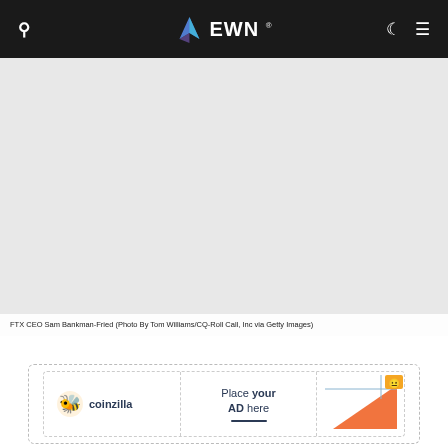EWN
[Figure (photo): Gray placeholder image area for FTX CEO Sam Bankman-Fried photo]
FTX CEO Sam Bankman-Fried (Photo By Tom Williams/CQ-Roll Call, Inc via Getty Images)
[Figure (other): Coinzilla advertisement: Place your AD here]